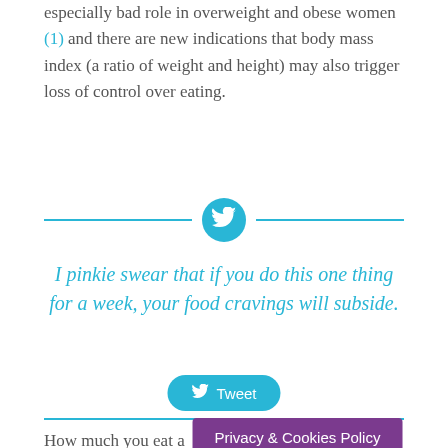especially bad role in overweight and obese women (1) and there are new indications that body mass index (a ratio of weight and height) may also trigger loss of control over eating.
[Figure (infographic): Twitter bird icon in a cyan circle with horizontal cyan divider lines on both sides]
I pinkie swear that if you do this one thing for a week, your food cravings will subside.
[Figure (infographic): Tweet button in cyan with Twitter bird icon]
How much you eat also corresponds to
Privacy & Cookies Policy